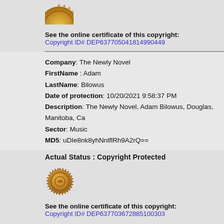[Figure (illustration): Gold copyright seal (partial, top half visible) positioned at top of page]
See the online certificate of this copyright:
Copyright ID# DEP637705041814990449
Company: The Newly Novel
FirstName : Adam
LastName: Bilowus
Date of protection: 10/20/2021 9:58:37 PM
Description: The Newly Novel, Adam Bilowus, Douglas, Manitoba, Ca
Sector: Music
MD5: uDIe8nk8yhNnlflRh9A2rQ==
Actual Status : Copyright Protected
[Figure (illustration): Gold copyright seal with 'UK' emblem in center, surrounded by decorative gear-like border]
See the online certificate of this copyright:
Copyright ID# DEP637703672885100303